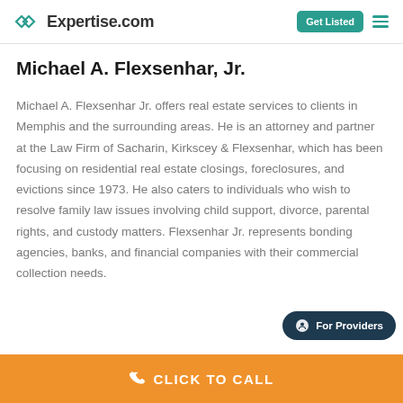Expertise.com
Michael A. Flexsenhar, Jr.
Michael A. Flexsenhar Jr. offers real estate services to clients in Memphis and the surrounding areas. He is an attorney and partner at the Law Firm of Sacharin, Kirkscey & Flexsenhar, which has been focusing on residential real estate closings, foreclosures, and evictions since 1973. He also caters to individuals who wish to resolve family law issues involving child support, divorce, parental rights, and custody matters. Flexsenhar Jr. represents bonding agencies, banks, and financial companies with their commercial collection needs.
CLICK TO CALL